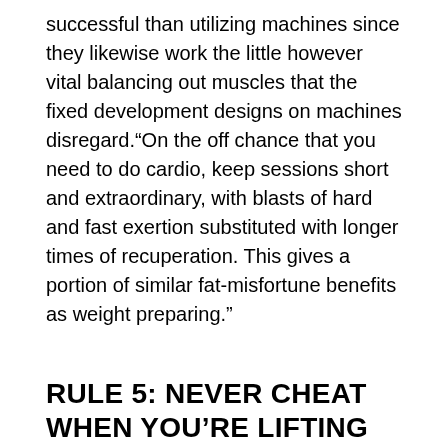successful than utilizing machines since they likewise work the little however vital balancing out muscles that the fixed development designs on machines disregard.“On the off chance that you need to do cardio, keep sessions short and extraordinary, with blasts of hard and fast exertion substituted with longer times of recuperation. This gives a portion of similar fat-misfortune benefits as weight preparing.”
RULE 5: NEVER CHEAT WHEN YOU’RE LIFTING
In contrast to proficient weightlifters, the point of a spread model isn’t to move the greatest weight conceivable, yet to improve the strong structure of their body. Your objective is likely the equivalent.